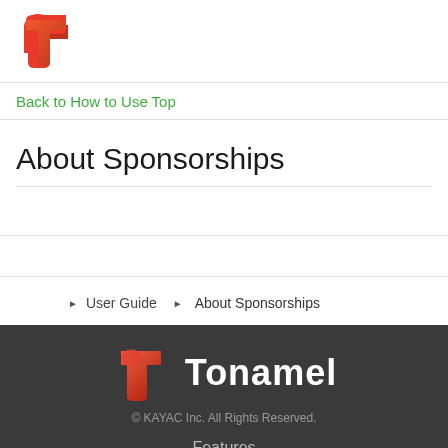[Figure (logo): Tonamel logo icon — stylized T shape in red/orange gradient on white background]
Back to How to Use Top
About Sponsorships
▶ User Guide  ▶ About Sponsorships
[Figure (logo): Tonamel full logo — icon and 'Tonamel' text in white on dark background]
© KAYAC Inc. All Rights Reserved.
Features